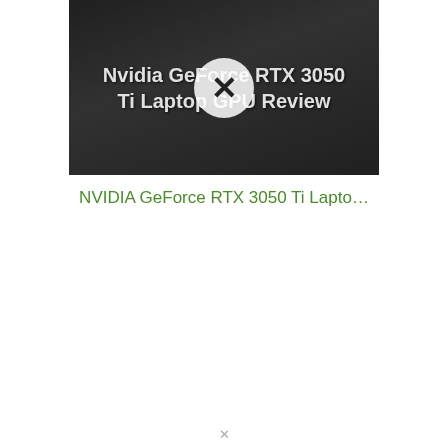[Figure (screenshot): Thumbnail image of a laptop with dark overlay showing text 'Nvidia GeForce RTX 3050 Ti Laptop GPU Review' and a circular X overlay icon in the center]
NVIDIA GeForce RTX 3050 Ti Lapto…